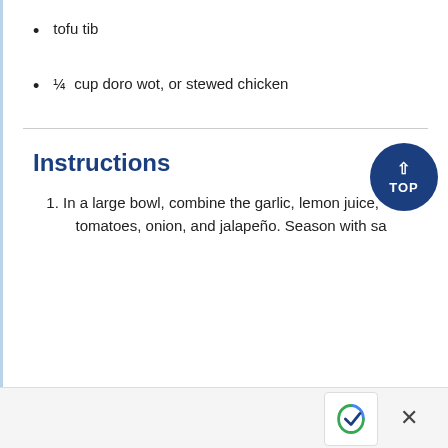tofu tib
¼ cup doro wot, or stewed chicken
Instructions
In a large bowl, combine the garlic, lemon juice, tomatoes, onion, and jalapeño. Season with sa